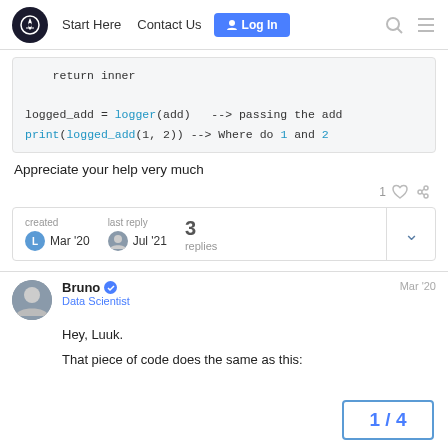Start Here  Contact Us  Log In
return inner

logged_add = logger(add)  --> passing the add
print(logged_add(1, 2)) --> Where do 1 and 2
Appreciate your help very much
1 [like] [link]
created Mar '20  last reply Jul '21  3 replies
Bruno  Data Scientist  Mar '20
Hey, Luuk.
That piece of code does the same as this:
1 / 4